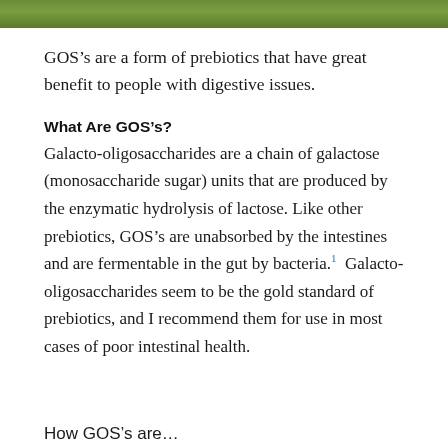[Figure (photo): Partial photo strip at top of page showing green plants/foliage]
GOS’s are a form of prebiotics that have great benefit to people with digestive issues.
What Are GOS’s?
Galacto-oligosaccharides are a chain of galactose (monosaccharide sugar) units that are produced by the enzymatic hydrolysis of lactose. Like other prebiotics, GOS’s are unabsorbed by the intestines and are fermentable in the gut by bacteria.¹ Galacto-oligosaccharides seem to be the gold standard of prebiotics, and I recommend them for use in most cases of poor intestinal health.
How GOS’s are… (partial, cut off at bottom)